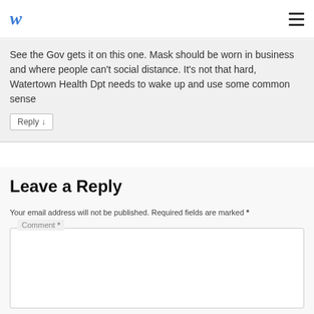W (logo) | hamburger menu
See the Gov gets it on this one. Mask should be worn in business and where people can't social distance. It's not that hard, Watertown Health Dpt needs to wake up and use some common sense
Reply ↓
Leave a Reply
Your email address will not be published. Required fields are marked *
Comment *